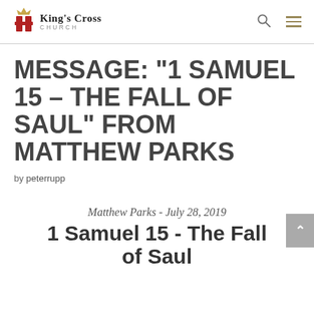King's Cross Church
MESSAGE: “1 SAMUEL 15 – THE FALL OF SAUL” FROM MATTHEW PARKS
by peterrupp
Matthew Parks - July 28, 2019
1 Samuel 15 - The Fall of Saul